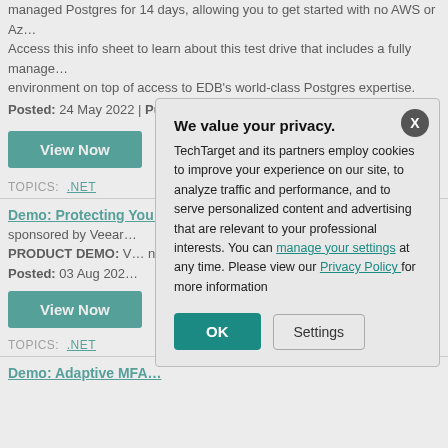managed Postgres for 14 days, allowing you to get started with no AWS or Az... Access this info sheet to learn about this test drive that includes a fully manage... environment on top of access to EDB's world-class Postgres expertise.
Posted: 24 May 2022 | Published: 24 May 2022
View Now
TOPICS: .NET
Demo: Protecting You...
sponsored by Veear...
PRODUCT DEMO: V... native backup and re... protection.
Posted: 03 Aug 202...
View Now
TOPICS: .NET
Demo: Adaptive MFA
[Figure (screenshot): Privacy consent modal dialog overlay on a TechTarget webpage. The modal has a dark X close button in the top right corner, a bold title 'We value your privacy.', body text explaining cookie usage, links to 'manage your settings' and 'Privacy Policy', and two buttons: 'OK' (teal/green) and 'Settings' (gray outlined).]